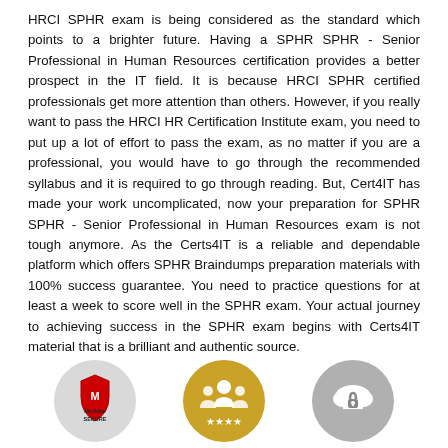HRCI SPHR exam is being considered as the standard which points to a brighter future. Having a SPHR SPHR - Senior Professional in Human Resources certification provides a better prospect in the IT field. It is because HRCI SPHR certified professionals get more attention than others. However, if you really want to pass the HRCI HR Certification Institute exam, you need to put up a lot of effort to pass the exam, as no matter if you are a professional, you would have to go through the recommended syllabus and it is required to go through reading. But, Cert4IT has made your work uncomplicated, now your preparation for SPHR SPHR - Senior Professional in Human Resources exam is not tough anymore. As the Certs4IT is a reliable and dependable platform which offers SPHR Braindumps preparation materials with 100% success guarantee. You need to practice questions for at least a week to score well in the SPHR exam. Your actual journey to achieving success in the SPHR exam begins with Certs4IT material that is a brilliant and authentic source.
[Figure (logo): McAfee SECURE logo badge in a light grey circle]
[Figure (illustration): Group of people / award icon in a gold/yellow circle]
[Figure (illustration): Cloud with lock/key icon in a grey circle]